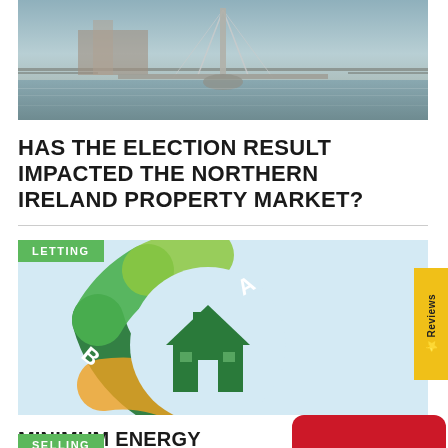[Figure (photo): Aerial or riverside photo showing a waterfront with a bridge structure and buildings in background]
HAS THE ELECTION RESULT IMPACTED THE NORTHERN IRELAND PROPERTY MARKET?
[Figure (illustration): Energy Performance Certificate (EPC) graphic showing a circular arc with ratings A and B, with a house icon, under a LETTING badge label]
MINIMUM ENERGY EFFICIENCY DEADLINE LOOMS CLOSER
See what the market is like for your home
SELLING